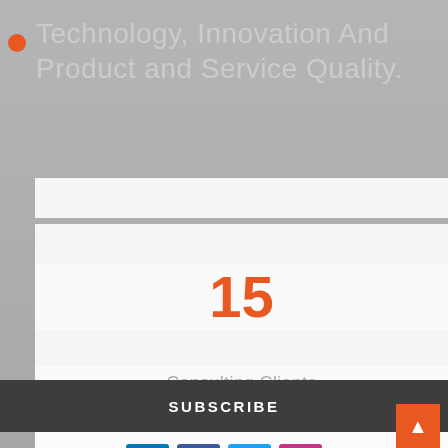Technology, Innovation And Product and Service Quality.
15
Consulting Clients
SUBSCRIBE
[Figure (infographic): Social media icons: LinkedIn, Facebook, Twitter, Instagram]
19
Training Programmes